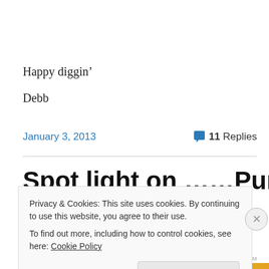Happy diggin'
Debb
January 3, 2013
11 Replies
Spot light on ……Pumpkins
Privacy & Cookies: This site uses cookies. By continuing to use this website, you agree to their use.
To find out more, including how to control cookies, see here: Cookie Policy
Close and accept